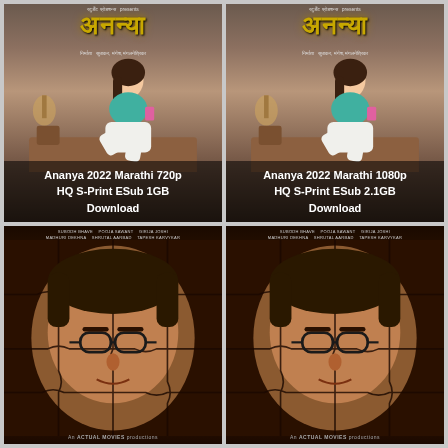[Figure (photo): Movie poster for Ananya 2022 Marathi film showing a woman in teal top seated, with golden Devanagari title. Caption: Ananya 2022 Marathi 720p HQ S-Print ESub 1GB Download]
[Figure (photo): Movie poster for Ananya 2022 Marathi film showing a woman in teal top seated, with golden Devanagari title. Caption: Ananya 2022 Marathi 1080p HQ S-Print ESub 2.1GB Download]
[Figure (photo): Movie poster showing a man's face rendered as a jigsaw puzzle on dark background, with cast names at top and 'An ACTUAL MOVIES productions' at bottom. Left copy.]
[Figure (photo): Movie poster showing a man's face rendered as a jigsaw puzzle on dark background, with cast names at top and 'An ACTUAL MOVIES productions' at bottom. Right copy.]